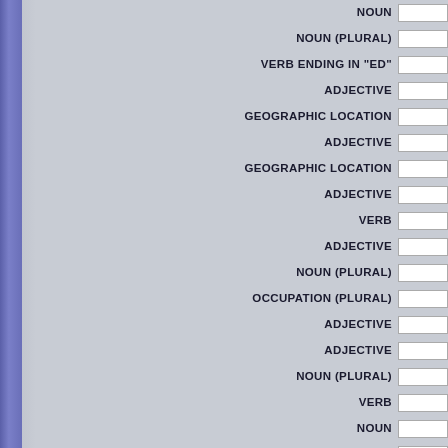NOUN
NOUN (PLURAL)
VERB ENDING IN "ED"
ADJECTIVE
GEOGRAPHIC LOCATION
ADJECTIVE
GEOGRAPHIC LOCATION
ADJECTIVE
VERB
ADJECTIVE
NOUN (PLURAL)
OCCUPATION (PLURAL)
ADJECTIVE
ADJECTIVE
NOUN (PLURAL)
VERB
NOUN
ADJECTIVE